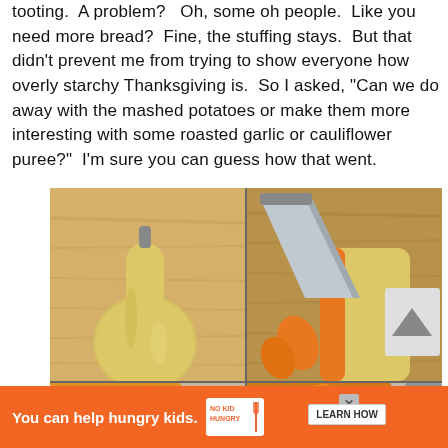tooting. A problem?  Oh, some oh people.  Like you need more bread?  Fine, the stuffing stays.  But that didn't prevent me from trying to show everyone how overly starchy Thanksgiving is.  So I asked, "Can we do away with the mashed potatoes or make them more interesting with some roasted garlic or cauliflower puree?"  I'm sure you can guess how that went.
[Figure (photo): A 2x2 grid of photos showing butternut squash: top-left shows a whole butternut squash on a wooden cutting board; top-right shows a knife cutting slices of butternut squash revealing orange interior; bottom-left shows peeled orange squash chunks; bottom-right shows more cut squash pieces with a knife.]
You can help hungry kids.  NO KID HUNGRY  LEARN HOW